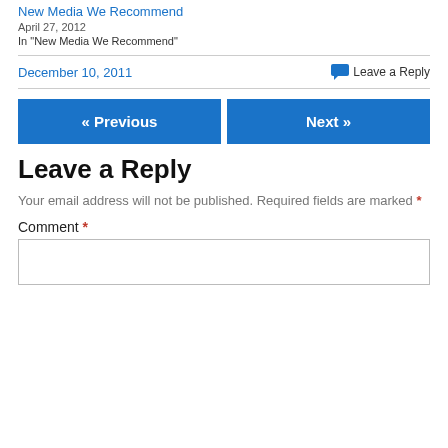New Media We Recommend
April 27, 2012
In "New Media We Recommend"
December 10, 2011
Leave a Reply
« Previous
Next »
Leave a Reply
Your email address will not be published. Required fields are marked *
Comment *